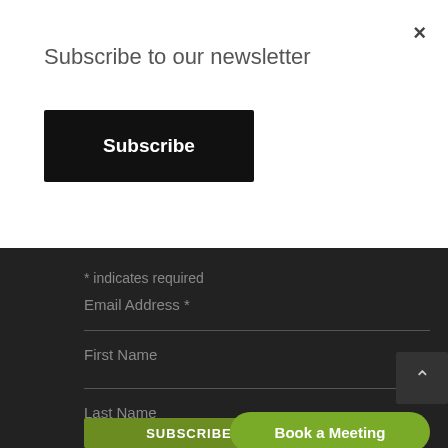Subscribe to our newsletter
[Figure (screenshot): Black Subscribe button]
× (close button)
* indicates required
Email Address *
First Name
[Figure (screenshot): Up arrow chevron button on dark background]
Last Name
[Figure (screenshot): Green SUBSCRIBE button]
[Figure (screenshot): Green rounded Book a Meeting button]